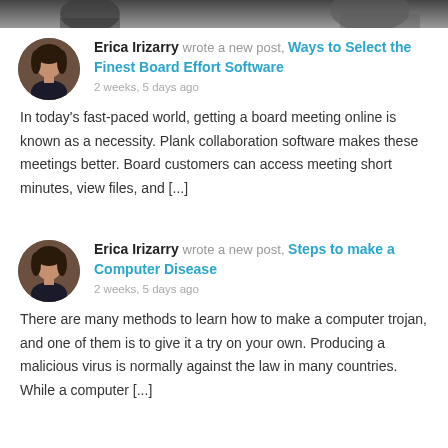[Figure (photo): Top banner image, partially visible, dark tones]
Erica Irizarry wrote a new post, Ways to Select the Finest Board Effort Software
2 weeks, 5 days ago
In today's fast-paced world, getting a board meeting online is known as a necessity. Plank collaboration software makes these meetings better. Board customers can access meeting short minutes, view files, and [...]
Erica Irizarry wrote a new post, Steps to make a Computer Disease
2 weeks, 5 days ago
There are many methods to learn how to make a computer trojan, and one of them is to give it a try on your own. Producing a malicious virus is normally against the law in many countries. While a computer [...]